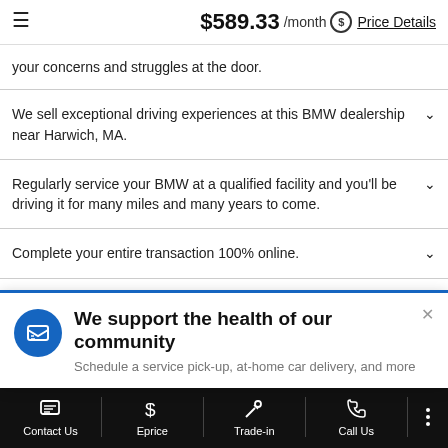$589.33 /month Price Details
your concerns and struggles at the door.
We sell exceptional driving experiences at this BMW dealership near Harwich, MA.
Regularly service your BMW at a qualified facility and you'll be driving it for many miles and many years to come.
Complete your entire transaction 100% online.
We support the health of our community
Schedule a service pick-up, at-home car delivery, and more
Contact Us  Eprice  Trade-in  Call Us